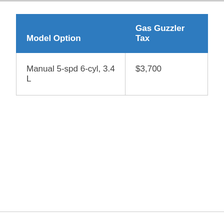| Model Option | Gas Guzzler Tax |
| --- | --- |
| Manual 5-spd 6-cyl, 3.4 L | $3,700 |